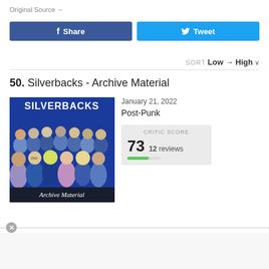Original Source →
[Figure (screenshot): Facebook Share and Twitter Tweet buttons]
SORT Low → High ∨
50. Silverbacks - Archive Material
[Figure (illustration): Silverbacks Archive Material album cover showing a crowd of illustrated people with SILVERBACKS text at top and Archive Material text at bottom]
January 21, 2022
Post-Punk
CRITIC SCORE
73  12 reviews